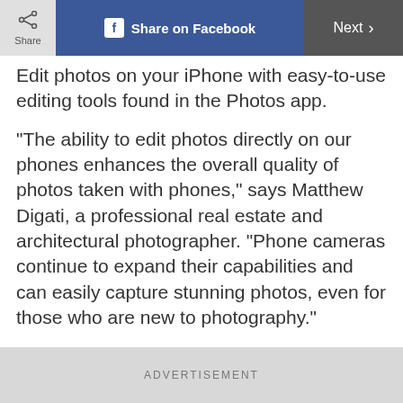Share | Share on Facebook | Next
Edit photos on your iPhone with easy-to-use editing tools found in the Photos app.
“The ability to edit photos directly on our phones enhances the overall quality of photos taken with phones,” says Matthew Digati, a professional real estate and architectural photographer. “Phone cameras continue to expand their capabilities and can easily capture stunning photos, even for those who are new to photography.”
Indeed, the newest iPhones are so high
ADVERTISEMENT